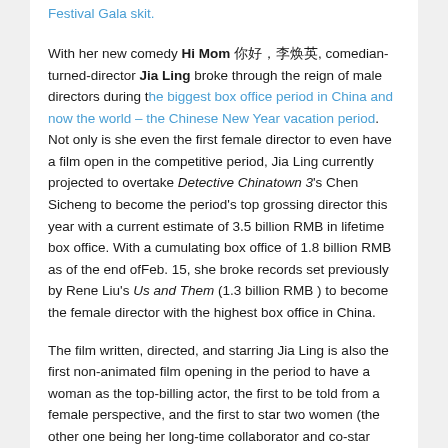Festival Gala skit.
With her new comedy Hi Mom 你好，李焕英, comedian-turned-director Jia Ling broke through the reign of male directors during the biggest box office period in China and now the world – the Chinese New Year vacation period. Not only is she even the first female director to even have a film open in the competitive period, Jia Ling currently projected to overtake Detective Chinatown 3's Chen Sicheng to become the period's top grossing director this year with a current estimate of 3.5 billion RMB in lifetime box office. With a cumulating box office of 1.8 billion RMB as of the end ofFeb. 15, she broke records set previously by Rene Liu's Us and Them (1.3 billion RMB ) to become the female director with the highest box office in China.
The film written, directed, and starring Jia Ling is also the first non-animated film opening in the period to have a woman as the top-billing actor, the first to be told from a female perspective, and the first to star two women (the other one being her long-time collaborator and co-star